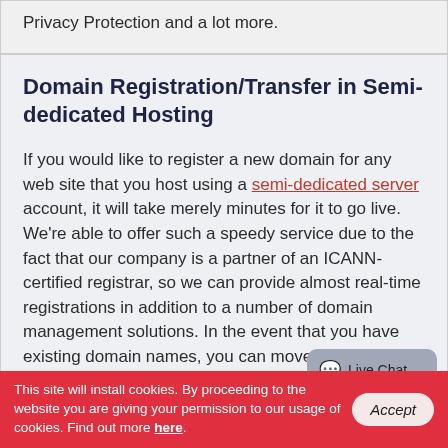Privacy Protection and a lot more.
Domain Registration/Transfer in Semi-dedicated Hosting
If you would like to register a new domain for any web site that you host using a semi-dedicated server account, it will take merely minutes for it to go live. We're able to offer such a speedy service due to the fact that our company is a partner of an ICANN-certified registrar, so we can provide almost real-time registrations in addition to a number of domain management solutions. In the event that you have existing domain names, you can move them here since it is easier to take care of them from a single
This site will install cookies. By proceeding to the website you are giving your permission to our usage of cookies. Find out more here.